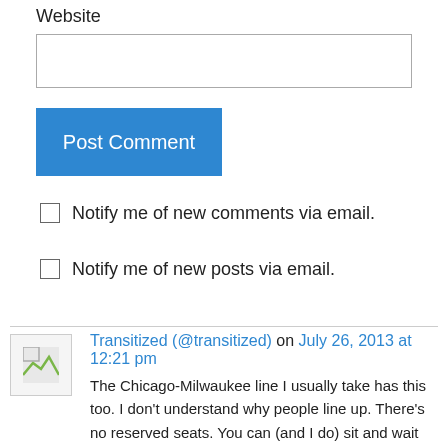Website
[Figure (screenshot): Empty text input field for website URL]
[Figure (screenshot): Blue 'Post Comment' button]
Notify me of new comments via email.
Notify me of new posts via email.
Transitized (@transitized) on July 26, 2013 at 12:21 pm
The Chicago-Milwaukee line I usually take has this too. I don't understand why people line up. There's no reserved seats. You can (and I do) sit and wait for the gate to open and just cut in line.